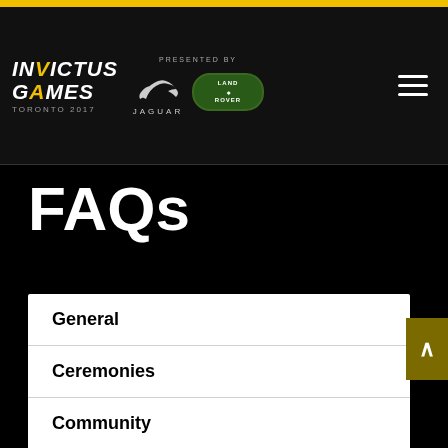INVICTUS GAMES TORONTO 2017 — PRESENTED BY JAGUAR LAND ROVER
FAQs
General
Ceremonies
Community
Volunteers
Other
Spectators